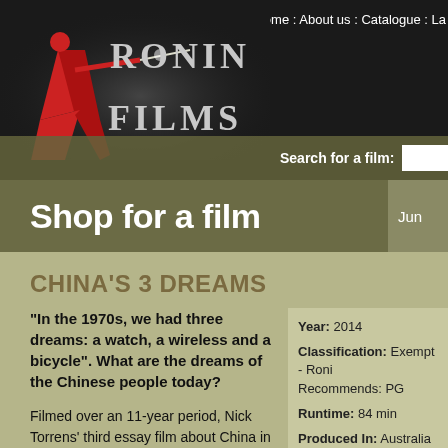Home : About us : Catalogue : La
[Figure (logo): Ronin Films logo — illustrated samurai warrior figure in red with 'RONIN FILMS' text in large silver/grey letters on dark background]
Search for a film:
Shop for a film
Jun
CHINA'S 3 DREAMS
"In the 1970s, we had three dreams: a watch, a wireless and a bicycle". What are the dreams of the Chinese people today?
Filmed over an 11-year period, Nick Torrens' third essay film about China in the modern world is an exploration of the missing years – the years of the Cultural Revolution. This period is rarely talked
Year: 2014
Classification: Exempt - Roni Recommends: PG
Runtime: 84 min
Produced In: Australia
Directed By: Nick Torrens
Produced By: Nick Torrens
Website: nicktorrensfilms